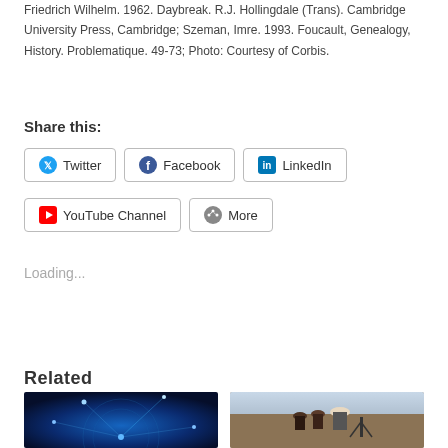Friedrich Wilhelm. 1962. Daybreak. R.J. Hollingdale (Trans). Cambridge University Press, Cambridge; Szeman, Imre. 1993. Foucault, Genealogy, History. Problematique. 49-73; Photo: Courtesy of Corbis.
Share this:
Twitter
Facebook
LinkedIn
YouTube Channel
More
Loading...
Related
[Figure (photo): Globe with network connections and blue light beams]
[Figure (photo): Person with hat and binoculars looking with others outdoors]